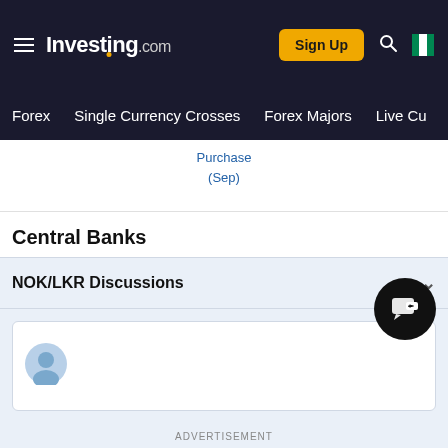Investing.com — Sign Up | Forex | Single Currency Crosses | Forex Majors | Live Cu
Purchase (Sep)
Central Banks
NOK/LKR Discussions
[Figure (other): User avatar icon placeholder in comment input box]
ADVERTISEMENT